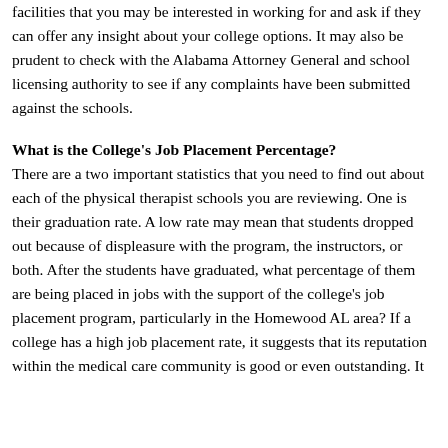facilities that you may be interested in working for and ask if they can offer any insight about your college options. It may also be prudent to check with the Alabama Attorney General and school licensing authority to see if any complaints have been submitted against the schools.
What is the College's Job Placement Percentage?
There are a two important statistics that you need to find out about each of the physical therapist schools you are reviewing. One is their graduation rate. A low rate may mean that students dropped out because of displeasure with the program, the instructors, or both. After the students have graduated, what percentage of them are being placed in jobs with the support of the college's job placement program, particularly in the Homewood AL area? If a college has a high job placement rate, it suggests that its reputation within the medical care community is good or even outstanding. It